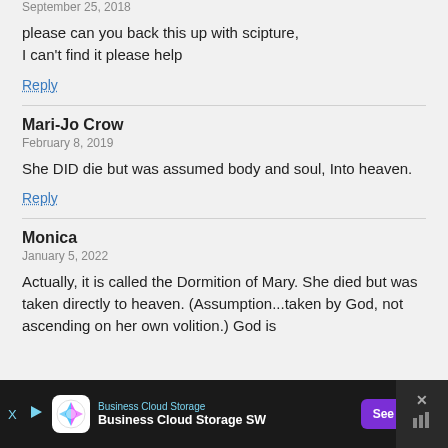September 25, 2018
please can you back this up with scipture, I can't find it please help
Reply
Mari-Jo Crow
February 8, 2019
She DID die but was assumed body and soul, Into heaven.
Reply
Monica
January 5, 2022
Actually, it is called the Dormition of Mary. She died but was taken directly to heaven. (Assumption...taken by God, not ascending on her own volition.) God is
[Figure (infographic): Advertisement bar at bottom: Business Cloud Storage SW ad with logo, See More button, and close/skip controls on dark background]